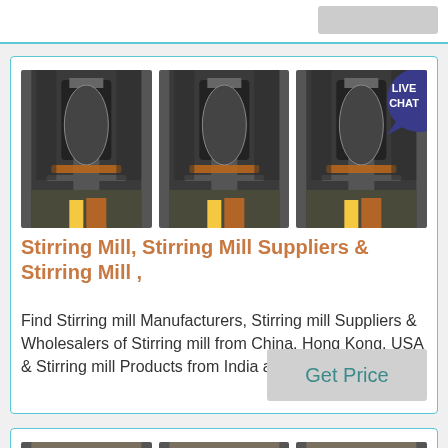[Figure (screenshot): Top navigation bar with gray button on the right]
[Figure (photo): Product listing card showing three images of a Stirring Mill machine, with title, description and Get Price button. Includes a LIVE CHAT bubble overlay.]
Stirring Mill, Stirring Mill Suppliers & Stirring Mill ,
Find Stirring mill Manufacturers, Stirring mill Suppliers & Wholesalers of Stirring mill from China, Hong Kong, USA & Stirring mill Products from India at TradeKey
[Figure (photo): Second product listing card showing three images of industrial pump/pipe machinery at the bottom of the page]